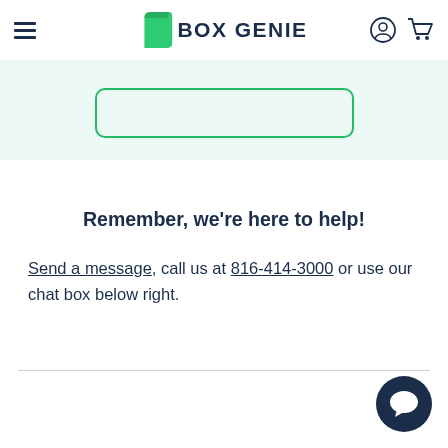Box Genie
[Figure (other): Green rounded rectangle input/button box on light green background]
Remember, we're here to help!
Send a message, call us at 816-414-3000 or use our chat box below right.
[Figure (other): Dark navy circular chat bubble icon in bottom right corner]